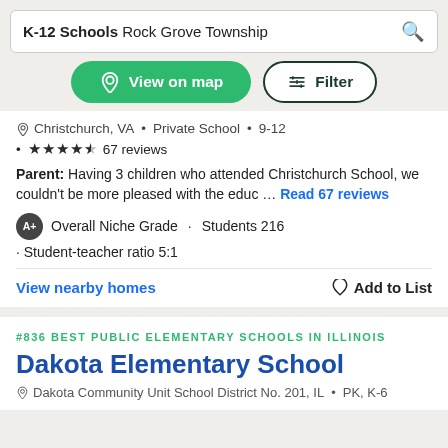K-12 Schools Rock Grove Township
View on map
Filter
Christchurch, VA • Private School • 9-12
★★★★½ 67 reviews
Parent: Having 3 children who attended Christchurch School, we couldn't be more pleased with the educ … Read 67 reviews
A+ Overall Niche Grade · Students 216
· Student-teacher ratio 5:1
View nearby homes
Add to List
#836 BEST PUBLIC ELEMENTARY SCHOOLS IN ILLINOIS
Dakota Elementary School
Dakota Community Unit School District No. 201, IL • PK, K-6